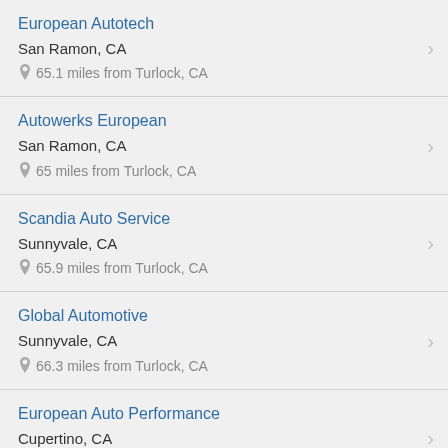European Autotech
San Ramon, CA
65.1 miles from Turlock, CA
Autowerks European
San Ramon, CA
65 miles from Turlock, CA
Scandia Auto Service
Sunnyvale, CA
65.9 miles from Turlock, CA
Global Automotive
Sunnyvale, CA
66.3 miles from Turlock, CA
European Auto Performance
Cupertino, CA